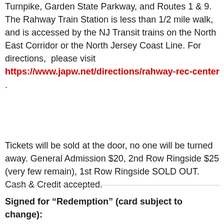Turnpike, Garden State Parkway, and Routes 1 & 9. The Rahway Train Station is less than 1/2 mile walk, and is accessed by the NJ Transit trains on the North East Corridor or the North Jersey Coast Line. For directions,  please visit https://www.japw.net/directions/rahway-rec-center .
Tickets will be sold at the door, no one will be turned away. General Admission $20, 2nd Row Ringside $25 (very few remain), 1st Row Ringside SOLD OUT. Cash & Credit accepted.
Signed for “Redemption” (card subject to change):